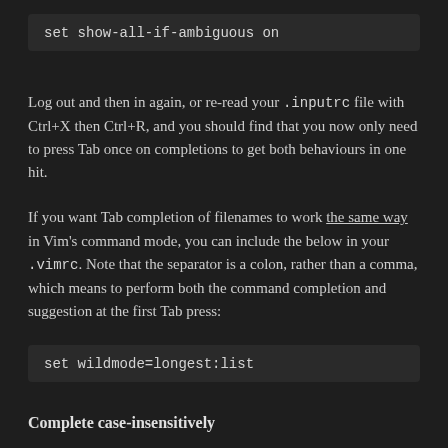set show-all-if-ambiguous on
Log out and then in again, or re-read your .inputrc file with Ctrl+X then Ctrl+R, and you should find that you now only need to press Tab once on completions to get both behaviours in one hit.
If you want Tab completion of filenames to work the same way in Vim's command mode, you can include the below in your .vimrc. Note that the separator is a colon, rather than a comma, which means to perform both the command completion and suggestion at the first Tab press:
set wildmode=longest:list
Complete case-insensitively
If you commonly Tab your way through long paths that sometimes include mixed-case names, you can make